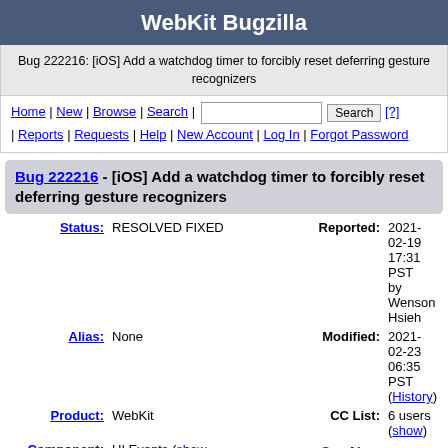WebKit Bugzilla
Bug 222216: [iOS] Add a watchdog timer to forcibly reset deferring gesture recognizers
Home | New | Browse | Search | [search input] Search [?] | Reports | Requests | Help | New Account | Log In | Forgot Password
Bug 222216 - [iOS] Add a watchdog timer to forcibly reset deferring gesture recognizers
| Field | Value | Field | Value |
| --- | --- | --- | --- |
| Status: | RESOLVED FIXED | Reported: | 2021-02-19 17:31 PST by Wenson Hsieh |
| Alias: | None | Modified: | 2021-02-23 06:35 PST (History) |
| Product: | WebKit | CC List: | 6 users (show) |
| Component: | UI Events (show other bugs) | See Also: |  |
| Version: | WebKit Nightly Build |  |  |
| Hardware: | Unspecified Unspecified |  |  |
| Importance: | P2 Normal |  |  |
| Assignee: | Wenson Hsieh |  |  |
| URL: |  |  |  |